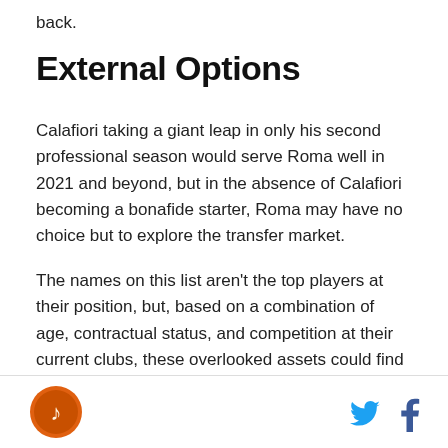back.
External Options
Calafiori taking a giant leap in only his second professional season would serve Roma well in 2021 and beyond, but in the absence of Calafiori becoming a bonafide starter, Roma may have no choice but to explore the transfer market.
The names on this list aren't the top players at their position, but, based on a combination of age, contractual status, and competition at their current clubs, these overlooked assets could find new life in Rome on a short-term loan.
[Figure (logo): Circular orange logo with stylized icon on bottom footer bar, along with Twitter and Facebook social media icons on the right]